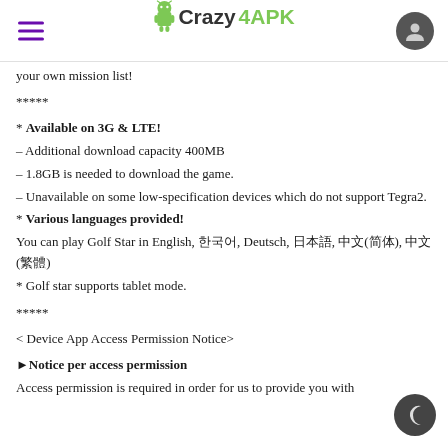Crazy4APK
your own mission list!
*****
* Available on 3G & LTE!
– Additional download capacity 400MB
– 1.8GB is needed to download the game.
– Unavailable on some low-specification devices which do not support Tegra2.
* Various languages provided!
You can play Golf Star in English, 한국어, Deutsch, 日本語, 中文(简体), 中文(繁體)
* Golf star supports tablet mode.
*****
< Device App Access Permission Notice>
►Notice per access permission
Access permission is required in order for us to provide you with